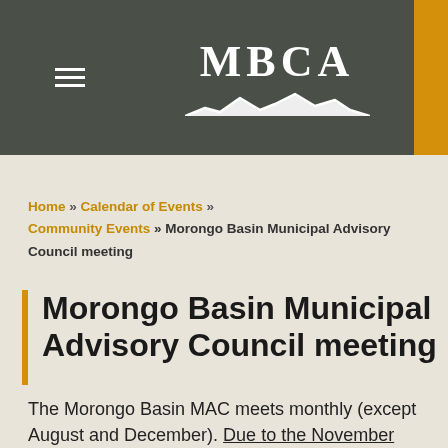MBCA
Home » Calendar of Events » Community Events » Morongo Basin Municipal Advisory Council meeting
Morongo Basin Municipal Advisory Council meeting
The Morongo Basin MAC meets monthly (except August and December). Due to the November cancellation due to Veterans Day, the MAC will meet in December this year. Here is the December 9, 2019 agenda